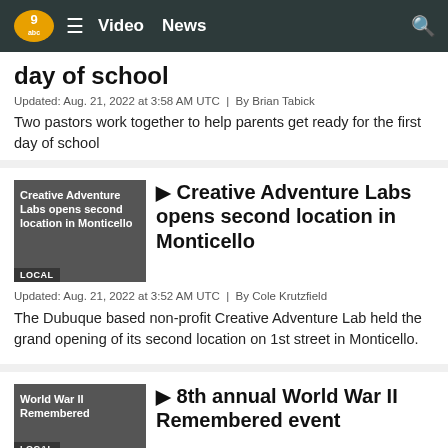Video | News
day of school
Updated: Aug. 21, 2022 at 3:58 AM UTC  |  By Brian Tabick
Two pastors work together to help parents get ready for the first day of school
[Figure (photo): LOCAL thumbnail for Creative Adventure Labs article]
Creative Adventure Labs opens second location in Monticello
Updated: Aug. 21, 2022 at 3:52 AM UTC  |  By Cole Krutzfield
The Dubuque based non-profit Creative Adventure Lab held the grand opening of its second location on 1st street in Monticello.
[Figure (photo): LOCAL thumbnail for World War II Remembered event article]
8th annual World War II Remembered event